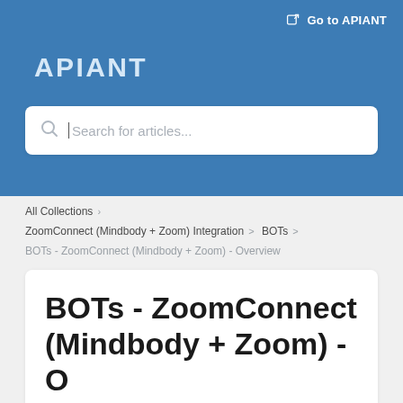Go to APIANT
[Figure (logo): APIANT logo text in light blue on blue background]
Search for articles...
All Collections
ZoomConnect (Mindbody + Zoom) Integration > BOTs >
BOTs - ZoomConnect (Mindbody + Zoom) - Overview
BOTs - ZoomConnect (Mindbody + Zoom) - Overview